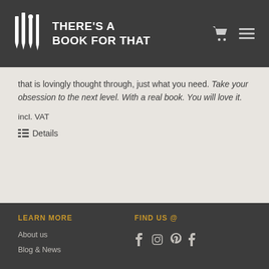THERE'S A BOOK FOR THAT
that is lovingly thought through, just what you need. Take your obsession to the next level. With a real book. You will love it.
incl. VAT
Details
LEARN MORE
About us
Blog & News

FIND US @
f  Instagram  Pinterest  Tumblr